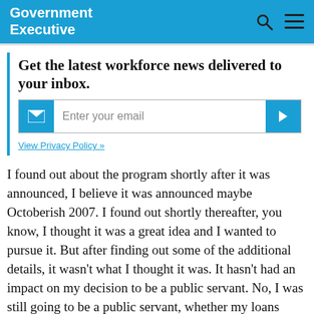Government Executive
Get the latest workforce news delivered to your inbox.
View Privacy Policy »
I found out about the program shortly after it was announced, I believe it was announced maybe Octoberish 2007. I found out shortly thereafter, you know, I thought it was a great idea and I wanted to pursue it. But after finding out some of the additional details, it wasn't what I thought it was. It hasn't had an impact on my decision to be a public servant. No, I was still going to be a public servant, whether my loans were forgiven or not, I'm not just waiting for them to be forgiven the hardship, but I am